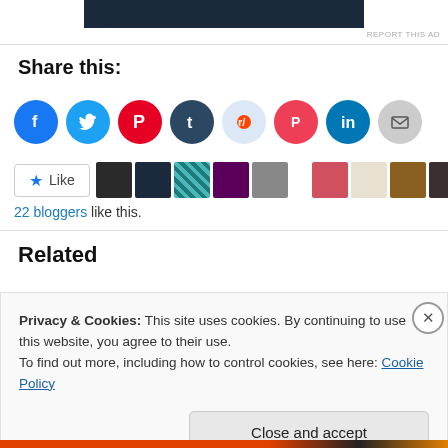[Figure (other): Dark advertisement banner image at the top of the page]
REPORT THIS AD
Share this:
[Figure (infographic): Row of social share icon buttons: Facebook, Twitter, Pinterest, Tumblr, Reddit, Pocket, LinkedIn, Email]
[Figure (other): Like button and avatar strip showing 22 bloggers like this]
22 bloggers like this.
Related
Privacy & Cookies: This site uses cookies. By continuing to use this website, you agree to their use.
To find out more, including how to control cookies, see here: Cookie Policy
Close and accept